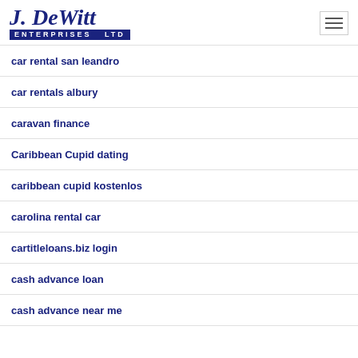J. DeWitt Enterprises Ltd
car rental san leandro
car rentals albury
caravan finance
Caribbean Cupid dating
caribbean cupid kostenlos
carolina rental car
cartitleloans.biz login
cash advance loan
cash advance near me